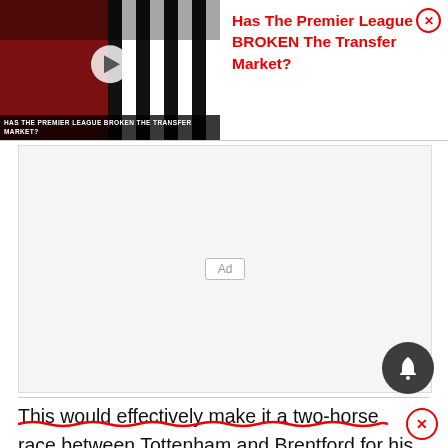[Figure (screenshot): Video thumbnail showing two football players – one in a red Manchester United shirt, one in a black and white Newcastle kit – with a play button overlay and text 'Has The Premier League Broken The Transfer Market?' at the bottom of the thumbnail.]
Has The Premier League BROKEN The Transfer Market?
[Figure (other): Advertisement placeholder box with 'Ad' label centered inside a light grey rectangle.]
This would effectively make it a two-horse race between Tottenham and Brentford for his services.
Eceleshare responded to a fan, claiming the pre...